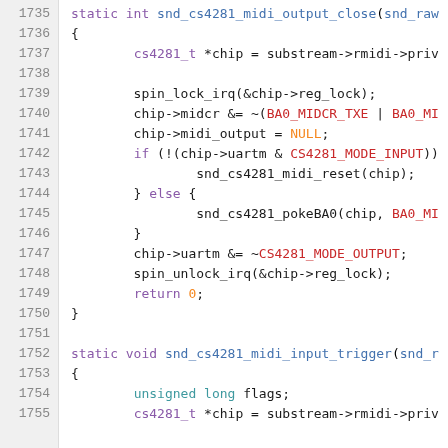Source code listing lines 1735-1755, C code for snd_cs4281 MIDI functions